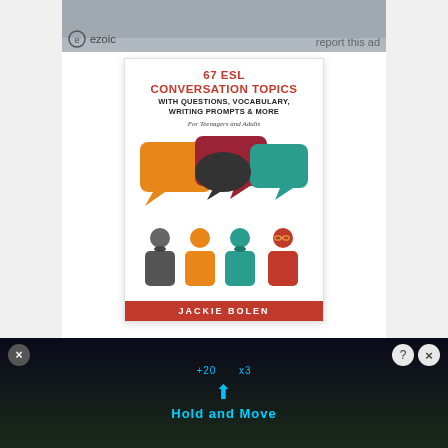[Figure (screenshot): Ezoic ad banner at top with 'report this ad' text]
[Figure (illustration): Book cover: 67 ESL Conversation Topics with Questions, Vocabulary, Writing Prompts & More by Jackie Bolen. Shows speech bubbles in orange, red, teal and four illustrated person icons below. Red banner at bottom with author name JACKIE BOLEN.]
67 ESL Conversation Topics with Questions, Vocabulary, Writing Prompts & More: For English Teachers...
[Figure (other): 4 out of 5 stars rating shown with yellow filled stars and one gray empty star]
[Figure (screenshot): Bottom advertisement banner showing 'Hold and Move' game ad on dark background with blue neon elements]